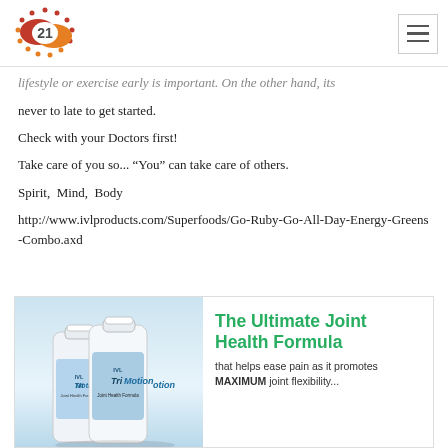[Logo: 21] [hamburger menu]
lifestyle or exercise early is important. On the other hand, its never to late to get started.
Check with your Doctors first!
Take care of you so... “You” can take care of others.
Spirit,  Mind,  Body
http://www.ivlproducts.com/Superfoods/Go-Ruby-Go-All-Day-Energy-Greens-Combo.axd
[Figure (photo): Advertisement box showing two white supplement bottles labeled IVL TriMotion with text 'The Ultimate Joint Health Formula' in green and 'that helps ease pain as it promotes MAXIMUM joint flexibility...']